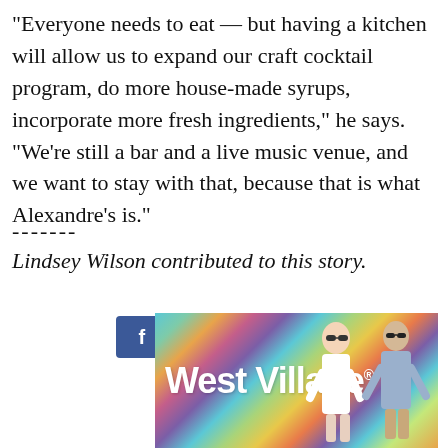"Everyone needs to eat — but having a kitchen will allow us to expand our craft cocktail program, do more house-made syrups, incorporate more fresh ingredients," he says. "We're still a bar and a live music venue, and we want to stay with that, because that is what Alexandre's is."
-------
Lindsey Wilson contributed to this story.
[Figure (infographic): Social share buttons: Facebook with count 35, Twitter with count 1, and Email button]
[Figure (photo): West Village advertisement banner with colorful geometric background and two people (a woman and a man) posing]